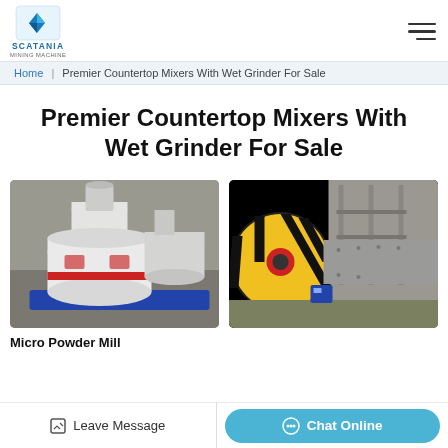[Figure (logo): Scatania Mining Machine logo with blue diamond/arrow icon and company name]
Home | Premier Countertop Mixers With Wet Grinder For Sale
Premier Countertop Mixers With Wet Grinder For Sale
[Figure (photo): White industrial micro powder mill machine in a factory setting]
[Figure (photo): Large industrial ball mill with yellow and black flywheel in a factory]
Micro Powder Mill
Leave Message
Chat Online